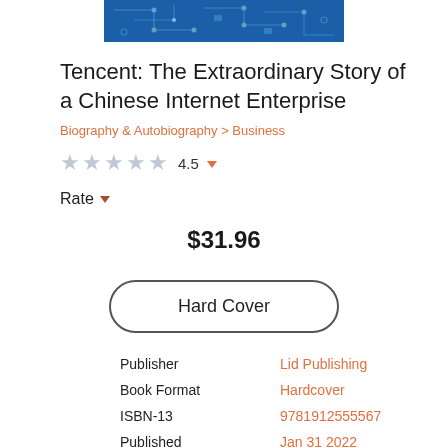[Figure (illustration): Book cover image with blue circuit board background pattern]
Tencent: The Extraordinary Story of a Chinese Internet Enterprise
Biography & Autobiography > Business
★★★★★ 4.5
Rate
$31.96
Hard Cover
| Field | Value |
| --- | --- |
| Publisher | Lid Publishing |
| Book Format | Hardcover |
| ISBN-13 | 9781912555567 |
| Published | Jan 31 2022 |